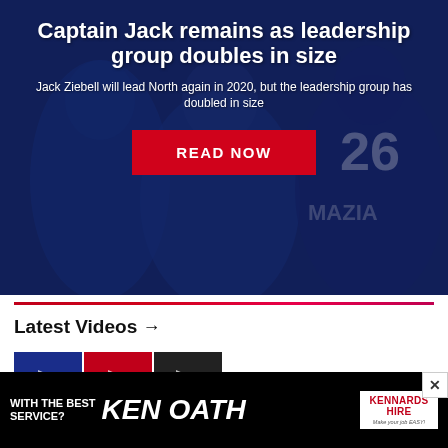Captain Jack remains as leadership group doubles in size
Jack Ziebell will lead North again in 2020, but the leadership group has doubled in size
[Figure (photo): Background photo of AFL players in blue and red jerseys grappling, with dark blue overlay. A player wearing number 26 is visible on the right side.]
Latest Videos →
[Figure (screenshot): Advertisement banner: 'WITH THE BEST SERVICE? KEN OATH' with Kennards Hire logo. Black background with white and yellow text.]